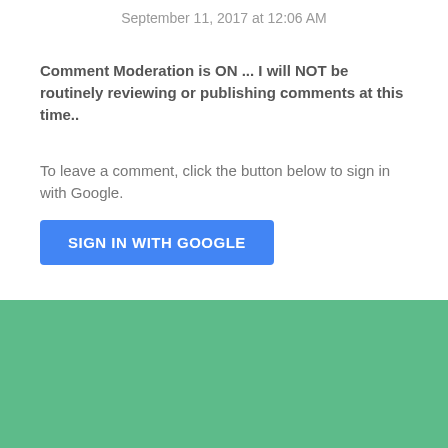September 11, 2017 at 12:06 AM
Comment Moderation is ON ... I will NOT be routinely reviewing or publishing comments at this time..
To leave a comment, click the button below to sign in with Google.
[Figure (screenshot): Blue SIGN IN WITH GOOGLE button]
[Figure (logo): Powered by Blogger logo with Blogger B icon]
Theme images by merrymoonmary
Copyright Carbsanity LLC. All Rights Reserved